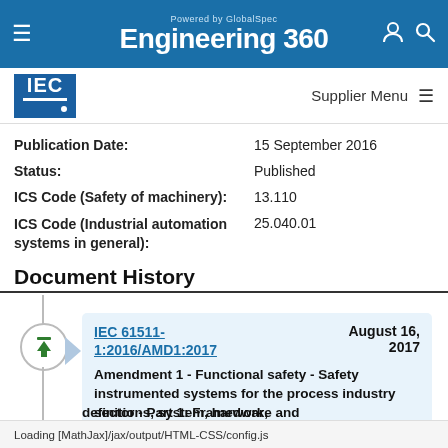Powered by GlobalSpec Engineering 360
[Figure (logo): IEC logo - blue square with IEC text in white]
Supplier Menu
| Field | Value |
| --- | --- |
| Publication Date: | 15 September 2016 |
| Status: | Published |
| ICS Code (Safety of machinery): | 13.110 |
| ICS Code (Industrial automation systems in general): | 25.040.01 |
Document History
IEC 61511-1:2016/AMD1:2017
August 16, 2017
Amendment 1 - Functional safety - Safety instrumented systems for the process industry sector - Part 1: Framework, definitions, system, hardware and
Loading [MathJax]/jax/output/HTML-CSS/config.js